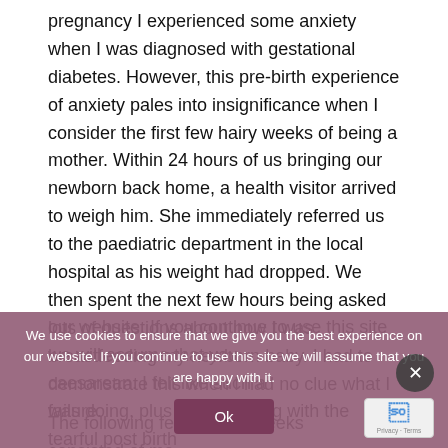pregnancy I experienced some anxiety when I was diagnosed with gestational diabetes. However, this pre-birth experience of anxiety pales into insignificance when I consider the first few hairy weeks of being a mother. Within 24 hours of us bringing our newborn back home, a health visitor arrived to weigh him. She immediately referred us to the paediatric department in the local hospital as his weight had dropped. We then spent the next few hours being asked lots of questions about how I was breastfeeding my newborn baby. I had to demonstrate this when I had no clue what I was doing, plus I was dealing with the tearful post birth ... caesarean. I felt like such a failure. The following few difficult weeks consisted of me
We use cookies to ensure that we give you the best experience on our website. If you continue to use this site we will assume that you are happy with it.
Ok